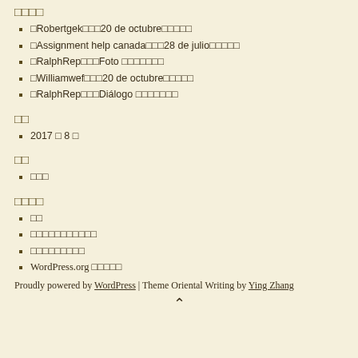□□□□
□Robertgek□□□20 de octubre□□□□□
□Assignment help canada□□□28 de julio□□□□□
□RalphRep□□□Foto □□□□□□□
□Williamwef□□□20 de octubre□□□□□
□RalphRep□□□Diálogo □□□□□□□
□□
2017 □ 8 □
□□
□□□
□□□□
□□
□□□□□□□□□□□
□□□□□□□□□
WordPress.org □□□□□
Proudly powered by WordPress | Theme Oriental Writing by Ying Zhang